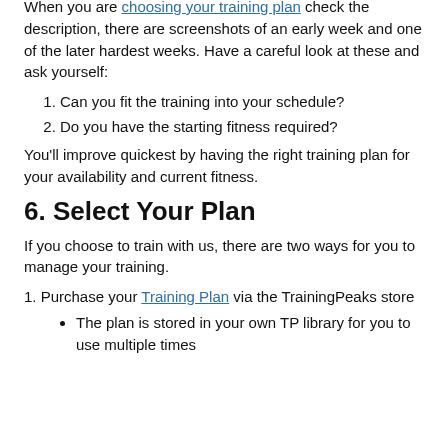When you are choosing your training plan check the description, there are screenshots of an early week and one of the later hardest weeks. Have a careful look at these and ask yourself:
1. Can you fit the training into your schedule?
2. Do you have the starting fitness required?
You'll improve quickest by having the right training plan for your availability and current fitness.
6. Select Your Plan
If you choose to train with us, there are two ways for you to manage your training.
1. Purchase your Training Plan via the TrainingPeaks store
The plan is stored in your own TP library for you to use multiple times